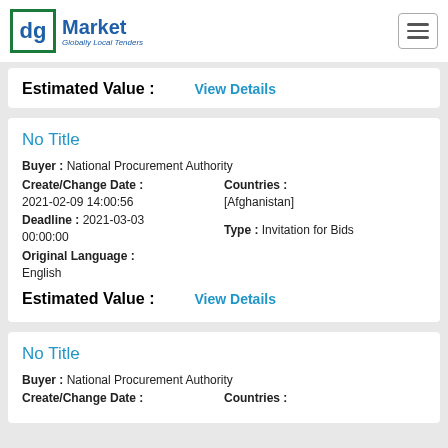dg Market — Globally Local Tenders
Estimated Value : View Details
No Title
Buyer : National Procurement Authority
Create/Change Date : 2021-02-09 14:00:56   Countries : [Afghanistan]
Deadline : 2021-03-03 00:00:00   Type : Invitation for Bids
Original Language : English
Estimated Value :   View Details
No Title
Buyer : National Procurement Authority
Create/Change Date :   Countries :